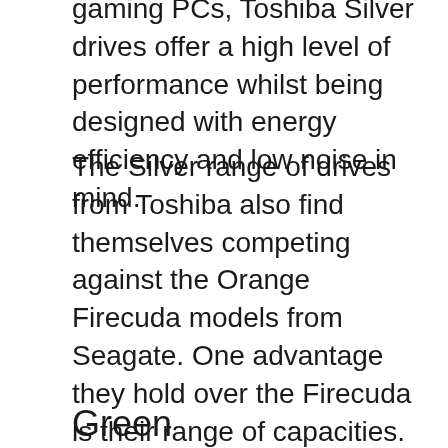gaming PCs, Toshiba Silver drives offer a high level of performance whilst being designed with energy efficiency and low noise in mind.
The Silver range of drives from Toshiba also find themselves competing against the Orange Firecuda models from Seagate. One advantage they hold over the Firecuda is their range of capacities. The Silver drives are available in capacities of up to 16TB. This means they truly are contenders for the creative market. We all know that video, in particular, can consume vast amounts of storage so it makes sense for Toshiba to offer their Silver line of drives with plenty of capacity.
Green